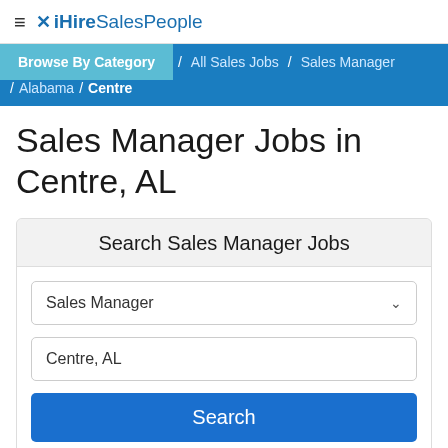≡ ✕ iHireSalesPeople
Browse By Category / All Sales Jobs / Sales Manager / Alabama / Centre
Sales Manager Jobs in Centre, AL
Search Sales Manager Jobs
Sales Manager
Centre, AL
Search